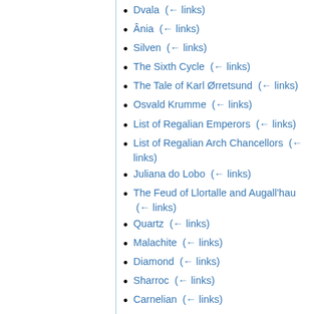Dvala  (← links)
Ânia  (← links)
Silven  (← links)
The Sixth Cycle  (← links)
The Tale of Karl Ørretsund  (← links)
Osvald Krumme  (← links)
List of Regalian Emperors  (← links)
List of Regalian Arch Chancellors  (← links)
Juliana do Lobo  (← links)
The Feud of Llortalle and Augall'hau  (← links)
Quartz  (← links)
Malachite  (← links)
Diamond  (← links)
Sharroc  (← links)
Carnelian  (← links)